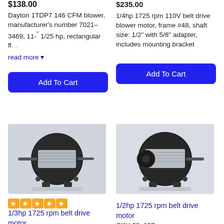$138.00
Dayton 1TDP7 146 CFM blower, manufacturer's number 7021-3469, 11-'' 1/25 hp, rectangular fl...
read more ▼
Add To Cart
$235.00
1/4hp 1725 rpm 110V belt drive blower motor, frame #48, shaft size: 1/2" with 5/8" adapter, includes mounting bracket
Add To Cart
[Figure (photo): Black electric belt drive motor with label, side shaft visible, mounted on white/blue background]
★★★★★
1/3hp 1725 rpm belt drive motor
SKU 69-136
[Figure (photo): Black electric belt drive motor on white background, front shaft visible]
1/2hp 1725 rpm belt drive motor
SKU 69-137
$325.00